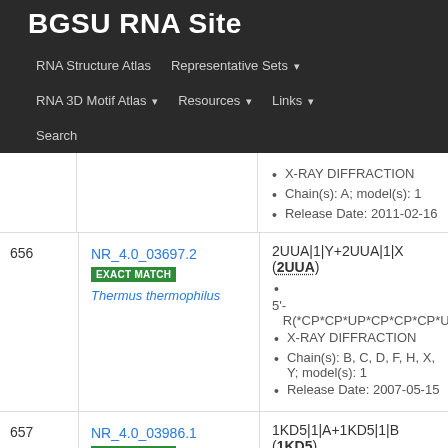BGSU RNA Site
RNA Structure Atlas | Representative Sets ▾ | RNA 3D Motif Atlas ▾ | Resources ▾ | Links ▾ | Search
| # | ID / Match | Details |
| --- | --- | --- |
|  |  | X-RAY DIFFRACTION
Chain(s): A; model(s): 1
Release Date: 2011-02-16 |
| 656 | NR_4.0_03697.2
EXACT MATCH
Thermus thermophilus | 2UUA|1|Y+2UUA|1|X (2UUA)
5'-R(*CP*CP*UP*CP*CP*CP*UP*CM0P*AP...
X-RAY DIFFRACTION
Chain(s): B, C, D, F, H, X, Y; model(s): 1
Release Date: 2007-05-15 |
| 657 | NR_4.0_03986.1
EXACT MATCH | 1KD5|1|A+1KD5|1|B (1KD5)
5'-R(*GP*GP*UP*CP*AP*CP*AP*GP*CP*C...
X-RAY DIFFRACTION
Chain(s): A, B, C, D, E, H; model(s): 1 |